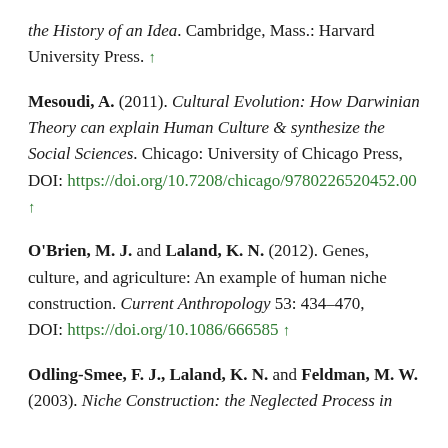the History of an Idea. Cambridge, Mass.: Harvard University Press. ↑
Mesoudi, A. (2011). Cultural Evolution: How Darwinian Theory can explain Human Culture & synthesize the Social Sciences. Chicago: University of Chicago Press, DOI: https://doi.org/10.7208/chicago/9780226520452.00 ↑
O'Brien, M. J. and Laland, K. N. (2012). Genes, culture, and agriculture: An example of human niche construction. Current Anthropology 53: 434–470, DOI: https://doi.org/10.1086/666585 ↑
Odling-Smee, F. J., Laland, K. N. and Feldman, M. W. (2003). Niche Construction: the Neglected Process in